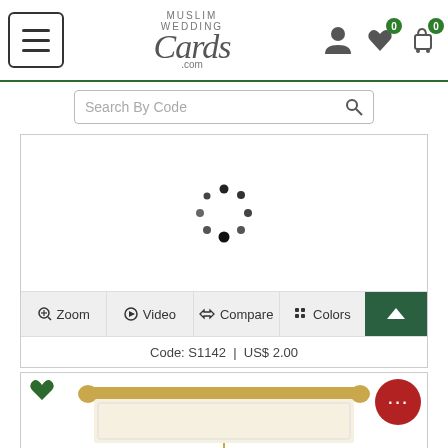Muslim Wedding Cards .com
Search By Code
[Figure (illustration): Loading spinner (circular dots pattern) inside a white product image area]
Zoom  Video  Compare  Colors
Code: S1142  |  US$ 2.00
[Figure (photo): A cream/ivory colored scroll-style wedding card with a gold horizontal bar at the top and a hanging tassel, partially visible]